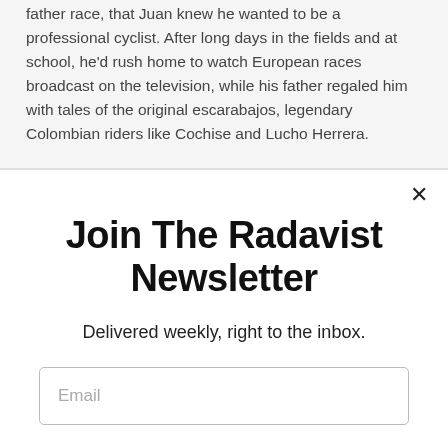father race, that Juan knew he wanted to be a professional cyclist. After long days in the fields and at school, he'd rush home to watch European races broadcast on the television, while his father regaled him with tales of the original escarabajos, legendary Colombian riders like Cochise and Lucho Herrera.
Join The Radavist Newsletter
Delivered weekly, right to the inbox.